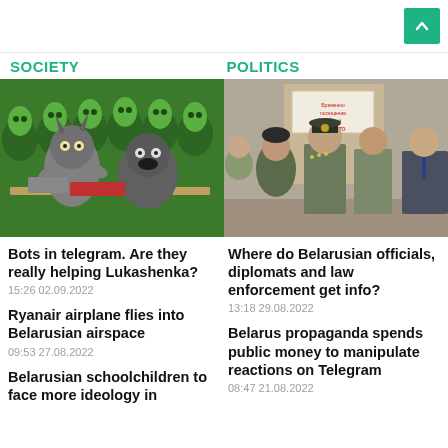SOCIETY
POLITICS
[Figure (photo): Monsters/creature toys scene with green alien background - illustrating Telegram bots]
[Figure (photo): Belarusian military officials and diplomats standing together in front of a door with a sign]
Bots in telegram. Are they really helping Lukashenka?
15:26 02.09.2022
Where do Belarusian officials, diplomats and law enforcement get info?
13:18 29.08.2022
Ryanair airplane flies into Belarusian airspace
09:53 27.08.2022
Belarus propaganda spends public money to manipulate reactions on Telegram
08:47 21.08.2022
Belarusian schoolchildren to face more ideology in